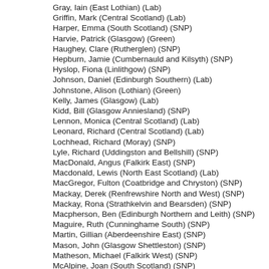Gray, Iain (East Lothian) (Lab)
Griffin, Mark (Central Scotland) (Lab)
Harper, Emma (South Scotland) (SNP)
Harvie, Patrick (Glasgow) (Green)
Haughey, Clare (Rutherglen) (SNP)
Hepburn, Jamie (Cumbernauld and Kilsyth) (SNP)
Hyslop, Fiona (Linlithgow) (SNP)
Johnson, Daniel (Edinburgh Southern) (Lab)
Johnstone, Alison (Lothian) (Green)
Kelly, James (Glasgow) (Lab)
Kidd, Bill (Glasgow Anniesland) (SNP)
Lennon, Monica (Central Scotland) (Lab)
Leonard, Richard (Central Scotland) (Lab)
Lochhead, Richard (Moray) (SNP)
Lyle, Richard (Uddingston and Bellshill) (SNP)
MacDonald, Angus (Falkirk East) (SNP)
Macdonald, Lewis (North East Scotland) (Lab)
MacGregor, Fulton (Coatbridge and Chryston) (SNP)
Mackay, Derek (Renfrewshire North and West) (SNP)
Mackay, Rona (Strathkelvin and Bearsden) (SNP)
Macpherson, Ben (Edinburgh Northern and Leith) (SNP)
Maguire, Ruth (Cunninghame South) (SNP)
Martin, Gillian (Aberdeenshire East) (SNP)
Mason, John (Glasgow Shettleston) (SNP)
Matheson, Michael (Falkirk West) (SNP)
McAlpine, Joan (South Scotland) (SNP)
McArthur, Liam (Orkney Islands) (LD)
McDonald, Mark (Aberdeen Donside) (SNP)
McKee, Ivan (Glasgow Provan) (SNP)
McKelvie, Christina (Hamilton, Larkhall and Stonehouse) (SNP)
McMillan, Stuart (Greenock and Inverclyde) (SNP)
McNeill, Pauline (Glasgow) (Lab)
McNeil, ... (... ) (SNP)